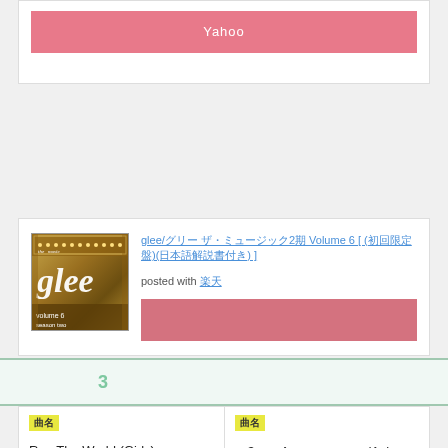Yahoo（ボタン）
[Figure (photo): Glee Volume 6 Season Two album cover with gold theater marquee background]
glee/グリー ザ・ミュージック2期 Volume 6 [ (初回限定盤)(日本語解説書付き) ]
posted with 楽天
楽天ボタン
関連記事3
| 曲名 | 曲名 |
| --- | --- |
| Run The World (Girls) | 第3回「Aの恐怖」(Asian F) |